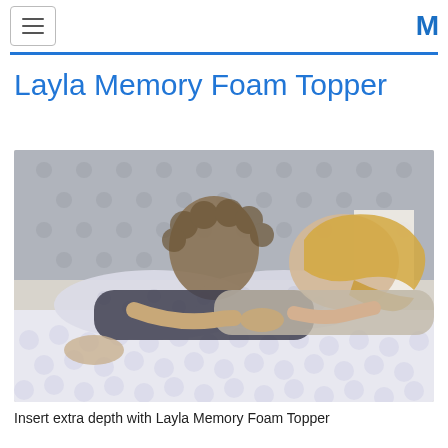≡ [hamburger menu] | M [logo]
Layla Memory Foam Topper
[Figure (photo): A couple lying on a bed with a Layla Memory Foam Topper, smiling at each other. The woman has long blonde hair; the man has curly brown hair. They are resting on pillows with a tufted gray headboard in the background and a lamp on a nightstand.]
Insert extra depth with Layla Memory Foam Topper